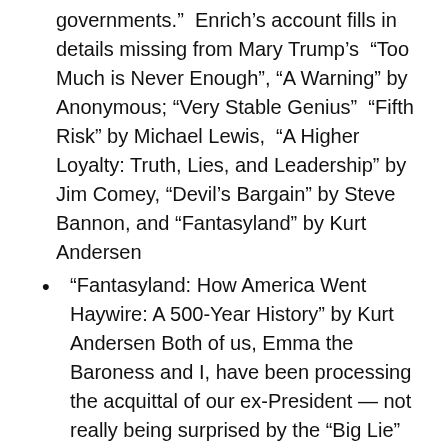governments.”  Enrich’s account fills in details missing from Mary Trump’s  “Too Much is Never Enough”, “A Warning” by Anonymous; “Very Stable Genius”  “Fifth Risk” by Michael Lewis,  “A Higher Loyalty: Truth, Lies, and Leadership” by Jim Comey, “Devil’s Bargain” by Steve Bannon, and “Fantasyland” by Kurt Andersen
“Fantasyland: How America Went Haywire: A 500-Year History” by Kurt Andersen Both of us, Emma the Baroness and I, have been processing the acquittal of our ex-President — not really being surprised by the “Big Lie” promoting followers in the Senate, but more disappointed after seeing new video documentation of the insurrection and detailed evidence time lines.  I return to Kurt Andersen’s book “Fantasyland” to help me through the process of filtering the unfolding events.
“How to Avoid a Climate Disaster” by Bill Gates. I love how he starts off with “There are two numbers you